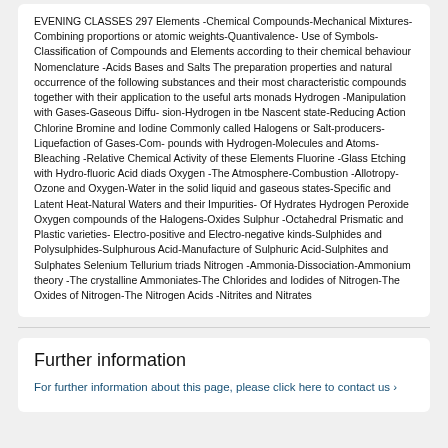EVENING CLASSES 297 Elements -Chemical Compounds-Mechanical Mixtures- Combining proportions or atomic weights-Quantivalence- Use of Symbols-Classification of Compounds and Elements according to their chemical behaviour Nomenclature -Acids Bases and Salts The preparation properties and natural occurrence of the following substances and their most characteristic compounds together with their application to the useful arts monads Hydrogen -Manipulation with Gases-Gaseous Diffu- sion-Hydrogen in tbe Nascent state-Reducing Action Chlorine Bromine and Iodine Commonly called Halogens or Salt-producers-Liquefaction of Gases-Com- pounds with Hydrogen-Molecules and Atoms-Bleaching -Relative Chemical Activity of these Elements Fluorine -Glass Etching with Hydro-fluoric Acid diads Oxygen -The Atmosphere-Combustion -Allotropy-Ozone and Oxygen-Water in the solid liquid and gaseous states-Specific and Latent Heat-Natural Waters and their Impurities- Of Hydrates Hydrogen Peroxide Oxygen compounds of the Halogens-Oxides Sulphur -Octahedral Prismatic and Plastic varieties- Electro-positive and Electro-negative kinds-Sulphides and Polysulphides-Sulphurous Acid-Manufacture of Sulphuric Acid-Sulphites and Sulphates Selenium Tellurium triads Nitrogen -Ammonia-Dissociation-Ammonium theory -The crystalline Ammoniates-The Chlorides and Iodides of Nitrogen-The Oxides of Nitrogen-The Nitrogen Acids -Nitrites and Nitrates
Further information
For further information about this page, please click here to contact us ›